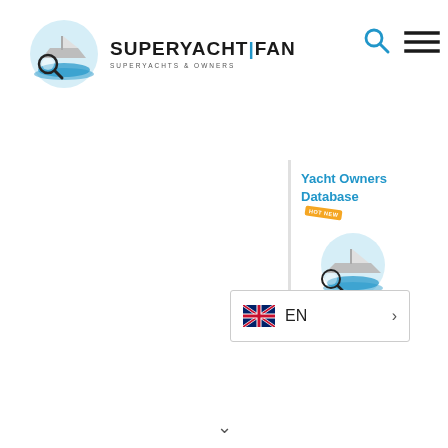[Figure (logo): SuperyachtFan logo: magnifying glass over yacht waves icon with text SUPERYACHT|FAN and subtitle SUPERYACHTS & OWNERS]
[Figure (other): Search icon (magnifying glass) in blue]
[Figure (other): Hamburger menu icon (three horizontal lines)]
[Figure (other): Yacht Owners Database promotional box with logo and HOT NEW badge]
[Figure (other): Language selector showing UK flag and EN with right arrow chevron]
∨